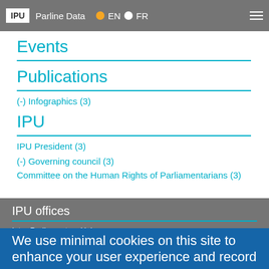IPU | Parline Data | EN | FR
Events
Publications
(-) Infographics (3)
IPU
IPU President (3)
(-) Governing council (3)
Committee on the Human Rights of Parliamentarians (3)
IPU offices
Inter-Parliamentary Union
5, chemin du Pommier
Case postale 330
CH-1218 Le Grand-Saconnex
Geneva
We use minimal cookies on this site to enhance your user experience and record